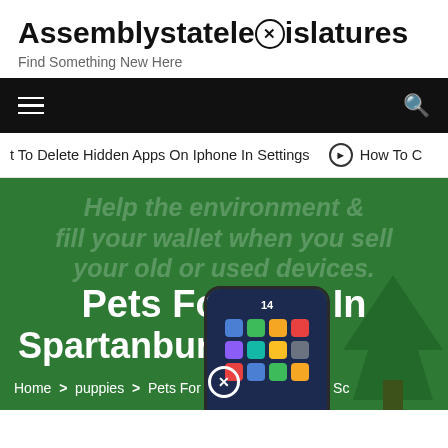Assemblystatelegislatures
Find Something New Here
Navigation bar with hamburger menu and search icon
t To Delete Hidden Apps On Iphone In Settings  ⊙  How To C
[Figure (screenshot): Green banner with faded background text 'Help the environment & fill your wallet when you sell your old or used devices.' overlaid with bold white title text 'Pets For Sale In Spartanburg Sc' and a phone device image showing a home screen with app icons]
Home > puppies > Pets For Sale In Spartanburg Sc